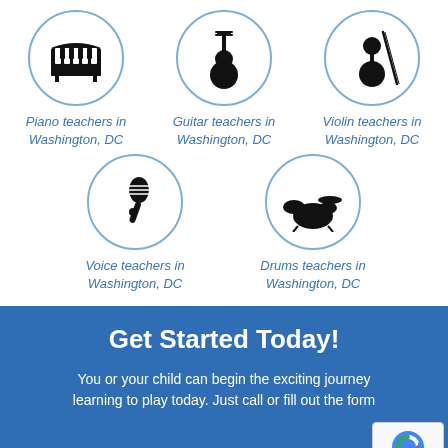[Figure (illustration): Piano icon inside a blue-outlined circle]
Piano teachers in Washington, DC
[Figure (illustration): Guitar icon inside a blue-outlined circle]
Guitar teachers in Washington, DC
[Figure (illustration): Violin icon inside a blue-outlined circle]
Violin teachers in Washington, DC
[Figure (illustration): Microphone icon inside a blue-outlined circle]
Voice teachers in Washington, DC
[Figure (illustration): Drum set icon inside a blue-outlined circle]
Drums teachers in Washington, DC
Get Started Today!
You or your child can begin the exciting journey learning to play today. Just call or fill out the form